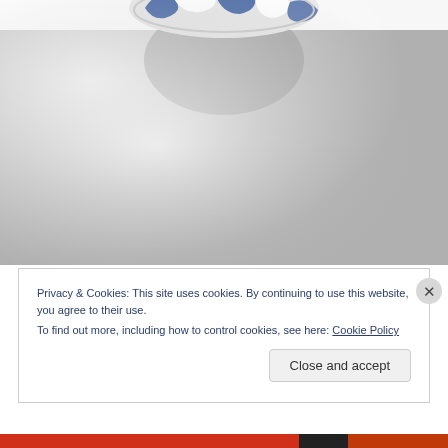[Figure (photo): Close-up photograph of the underside of a blue and white striped bowl resting on a light grey surface, casting a soft shadow.]
Privacy & Cookies: This site uses cookies. By continuing to use this website, you agree to their use.
To find out more, including how to control cookies, see here: Cookie Policy